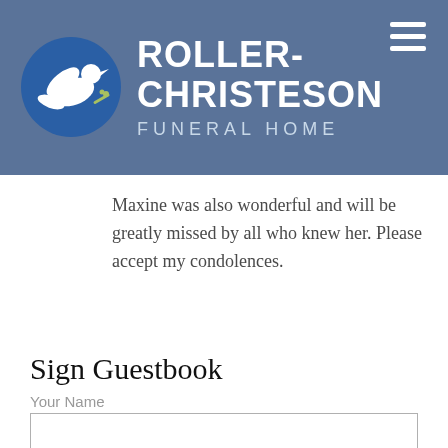ROLLER-CHRISTESON FUNERAL HOME
Maxine was also wonderful and will be greatly missed by all who knew her. Please accept my condolences.
Sign Guestbook
Your Name
Your Email Address